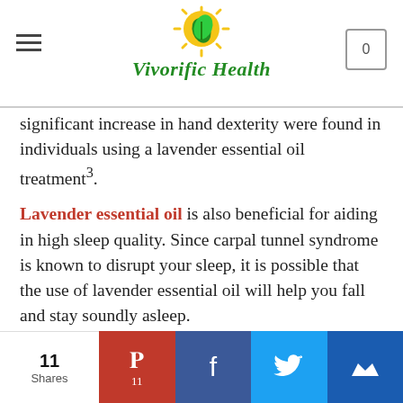Vivorific Health
significant increase in hand dexterity were found in individuals using a lavender essential oil treatment³.
Lavender essential oil is also beneficial for aiding in high sleep quality. Since carpal tunnel syndrome is known to disrupt your sleep, it is possible that the use of lavender essential oil will help you fall and stay soundly asleep.
Peppermint Essential Oil
Peppermint essential oil has analgesic
11 Shares | Pinterest 11 | Facebook | Twitter | Email